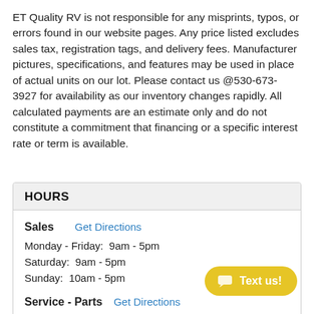ET Quality RV is not responsible for any misprints, typos, or errors found in our website pages. Any price listed excludes sales tax, registration tags, and delivery fees. Manufacturer pictures, specifications, and features may be used in place of actual units on our lot. Please contact us @530-673-3927 for availability as our inventory changes rapidly. All calculated payments are an estimate only and do not constitute a commitment that financing or a specific interest rate or term is available.
HOURS
Sales   Get Directions
Monday - Friday:  9am - 5pm
Saturday:  9am - 5pm
Sunday:  10am - 5pm
Service - Parts   Get Directions